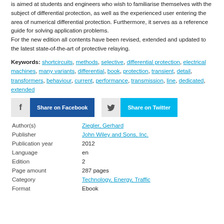is aimed at students and engineers who wish to familiarise themselves with the subject of differential protection, as well as the experienced user entering the area of numerical differential protection. Furthermore, it serves as a reference guide for solving application problems.
For the new edition all contents have been revised, extended and updated to the latest state-of-the-art of protective relaying.
Keywords: shortcircuits, methods, selective, differential protection, electrical machines, many variants, differential, book, protection, transient, detail, transformers, behaviour, current, performance, transmission, line, dedicated, extended
[Figure (other): Share on Facebook and Share on Twitter social sharing buttons]
| Author(s) | Ziegler, Gerhard |
| Publisher | John Wiley and Sons, Inc. |
| Publication year | 2012 |
| Language | en |
| Edition | 2 |
| Page amount | 287 pages |
| Category | Technology, Energy, Traffic |
| Format | Ebook |